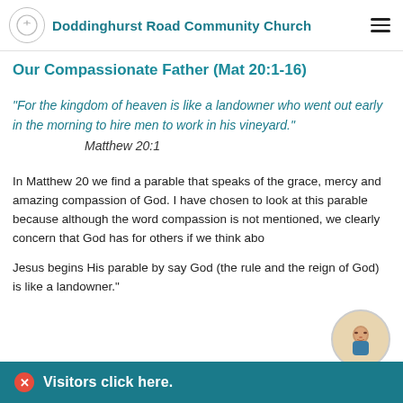Doddinghurst Road Community Church
Our Compassionate Father (Mat 20:1-16)
“For the kingdom of heaven is like a landowner who went out early in the morning to hire men to work in his vineyard.” Matthew 20:1
In Matthew 20 we find a parable that speaks of the grace, mercy and amazing compassion of God. I have chosen to look at this parable because although the word compassion is not mentioned, we clearly concern that God has for others if we think abo
Jesus begins His parable by say God (the rule and the reign of God) is like a landowner.